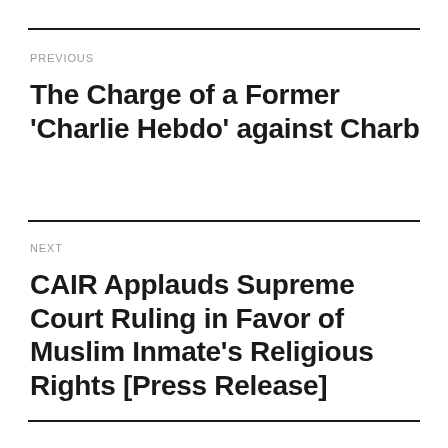PREVIOUS
The Charge of a Former 'Charlie Hebdo' against Charb
NEXT
CAIR Applauds Supreme Court Ruling in Favor of Muslim Inmate's Religious Rights [Press Release]